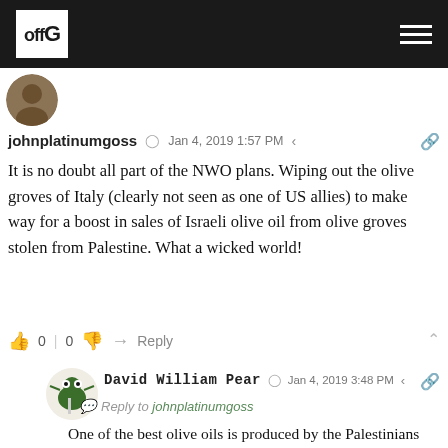[Figure (screenshot): Website header bar with 'offG' logo on dark background and hamburger menu icon on right]
johnplatinumgoss  Jan 4, 2019 1:57 PM
It is no doubt all part of the NWO plans. Wiping out the olive groves of Italy (clearly not seen as one of US allies) to make way for a boost in sales of Israeli olive oil from olive groves stolen from Palestine. What a wicked world!
0 | 0  Reply
[Figure (illustration): Small round avatar icon showing a cartoon bug/insect character on light background]
David William Pear  Jan 4, 2019 3:48 PM
Reply to johnplatinumgoss
One of the best olive oils is produced by the Palestinians and is a main source of their economy. The Israelis are likely to use this diabolical disease to kill off Palestinian olive trees. They have been doing it the old fashioned way by cutting them down,